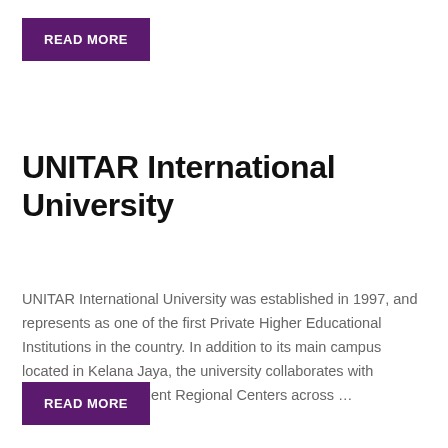[Figure (other): READ MORE button (purple background, white bold text) at top of page]
UNITAR International University
UNITAR International University was established in 1997, and represents as one of the first Private Higher Educational Institutions in the country. In addition to its main campus located in Kelana Jaya, the university collaborates with numerous Independent Regional Centers across …
[Figure (other): READ MORE button (purple background, white bold text) at bottom of page]